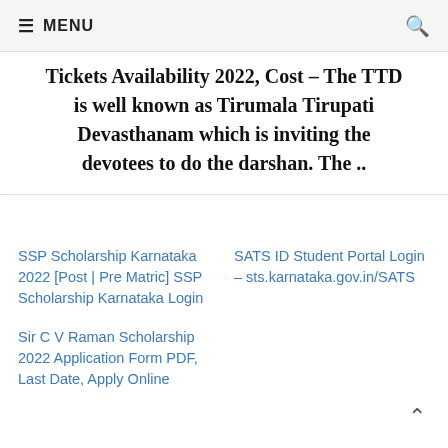≡ MENU 🔍
Tickets Availability 2022, Cost – The TTD is well known as Tirumala Tirupati Devasthanam which is inviting the devotees to do the darshan. The ..
SSP Scholarship Karnataka 2022 [Post | Pre Matric] SSP Scholarship Karnataka Login
SATS ID Student Portal Login – sts.karnataka.gov.in/SATS
Sir C V Raman Scholarship 2022 Application Form PDF, Last Date, Apply Online